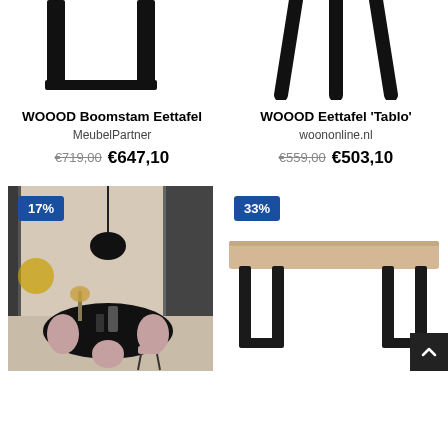[Figure (photo): WOOOD Boomstam Eettafel product photo showing table legs from below]
[Figure (photo): WOOOD Eettafel Tablo product photo showing tripod legs from below]
WOOOD Boomstam Eettafel
MeubelPartner
€719,00  €647,10
WOOOD Eettafel 'Tablo'
woononline.nl
€559,00  €503,10
[Figure (photo): Room scene with black oval dining table and pink chairs, 17% discount badge]
[Figure (photo): Light wood dining table with black U-shaped legs, 33% discount badge]